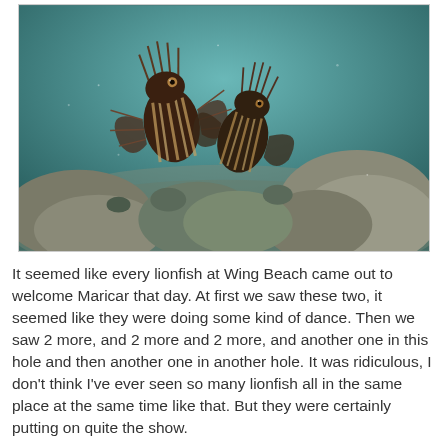[Figure (photo): Underwater photograph of two lionfish near coral rocks and sandy seafloor, teal-blue water background. The lionfish display their distinctive striped bodies and fan-like spiny fins.]
It seemed like every lionfish at Wing Beach came out to welcome Maricar that day. At first we saw these two, it seemed like they were doing some kind of dance. Then we saw 2 more, and 2 more and 2 more, and another one in this hole and then another one in another hole. It was ridiculous, I don't think I've ever seen so many lionfish all in the same place at the same time like that. But they were certainly putting on quite the show.